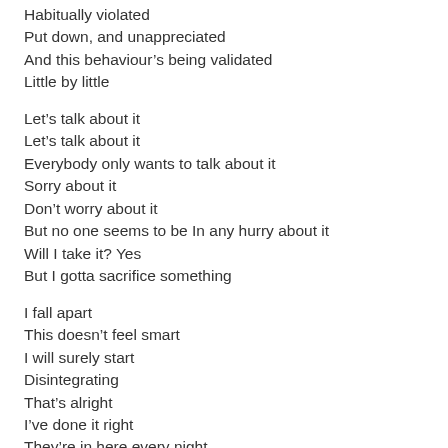Habitually violated
Put down, and unappreciated
And this behaviour's being validated
Little by little
Let's talk about it
Let's talk about it
Everybody only wants to talk about it
Sorry about it
Don't worry about it
But no one seems to be In any hurry about it
Will I take it? Yes
But I gotta sacrifice something
I fall apart
This doesn't feel smart
I will surely start
Disintegrating
That's alright
I've done it right
They're in here every night